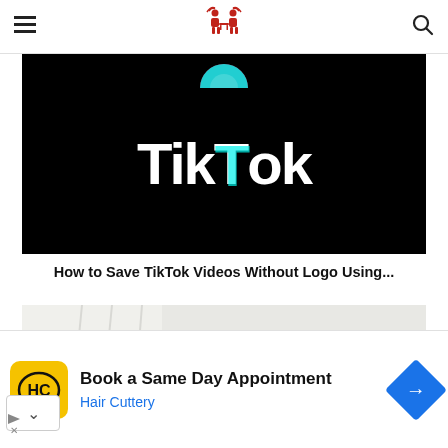Site navigation header with hamburger menu, logo, and search icon
[Figure (logo): TikTok logo on black background with TikTok wordmark in white and colorful icon above]
How to Save TikTok Videos Without Logo Using...
[Figure (photo): Office desk with iMac computer, white curtains in background, black lamp]
[Figure (infographic): Advertisement banner for Hair Cuttery: Book a Same Day Appointment with HC logo and navigation arrow icon]